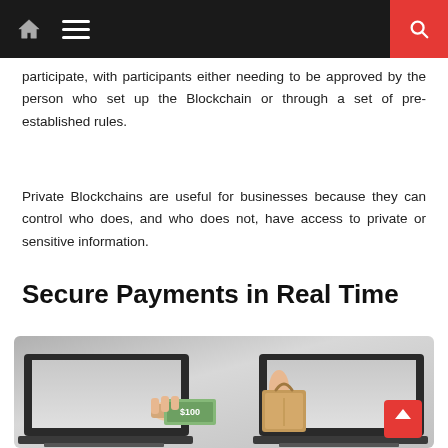Navigation bar with home, menu, and search icons
participate, with participants either needing to be approved by the person who set up the Blockchain or through a set of pre-established rules.
Private Blockchains are useful for businesses because they can control who does, and who does not, have access to private or sensitive information.
Secure Payments in Real Time
[Figure (photo): Two laptop computers facing each other with hands emerging from the screens — one hand holds a dollar bill (cash payment) and the other holds a brown paper shopping bag, illustrating secure real-time digital payments.]